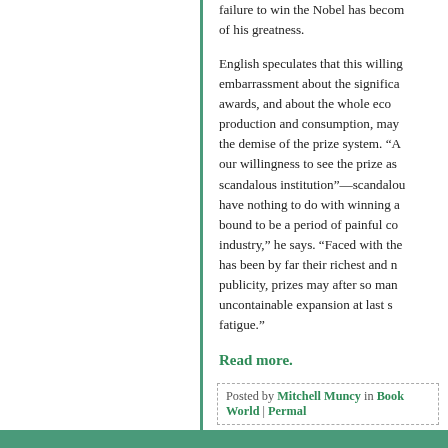failure to win the Nobel has become a mark of his greatness.
English speculates that this willingness, embarrassment about the significance of awards, and about the whole economy of production and consumption, may hasten the demise of the prize system. "A... our willingness to see the prize as a scandalous institution"—scandalous... have nothing to do with winning a... bound to be a period of painful co... industry," he says. "Faced with the... has been by far their richest and r... publicity, prizes may after so man... uncontainable expansion at last s... fatigue."
Read more.
Posted by Mitchell Muncy in Book World | Permal...
Next »